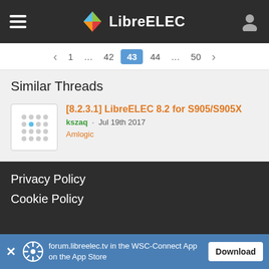LibreELEC
1 … 42 43 44 … 50
Similar Threads
[8.2.3.1] LibreELEC 8.2 for S905/S905X
kszaq · Jul 19th 2017
Amlogic
Privacy Policy
Cookie Policy
forum.libreelec.tv in the WSC-Connect App on the App Store